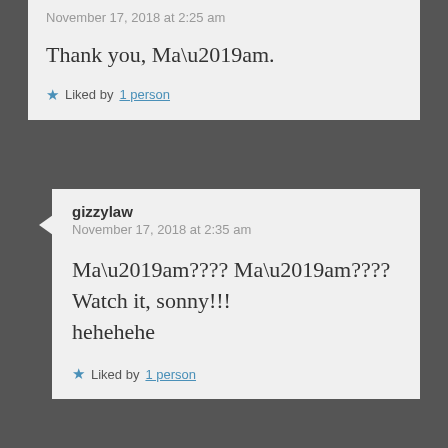November 17, 2018 at 2:25 am
Thank you, Ma’am.
★ Liked by 1 person
gizzylaw
November 17, 2018 at 2:35 am
Ma’am???? Ma’am???? Watch it, sonny!!! hehehehe
★ Liked by 1 person